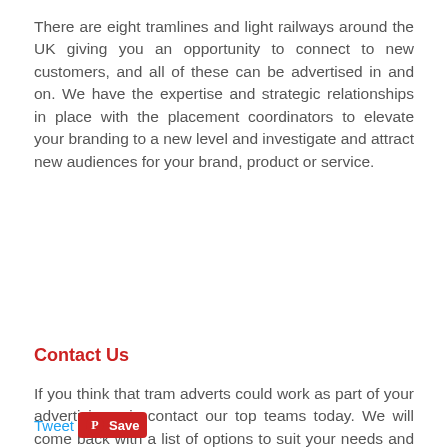There are eight tramlines and light railways around the UK giving you an opportunity to connect to new customers, and all of these can be advertised in and on. We have the expertise and strategic relationships in place with the placement coordinators to elevate your branding to a new level and investigate and attract new audiences for your brand, product or service.
Contact Us
If you think that tram adverts could work as part of your advertising mix contact our top teams today. We will come back with a list of options to suit your needs and your target market. We look forward to hearing from you!
[Figure (other): A blue rounded rectangle button with white bold uppercase text reading CONTACT US]
[Figure (other): Social sharing bar with Tweet link in blue and a red Pinterest Save button with Pinterest logo]